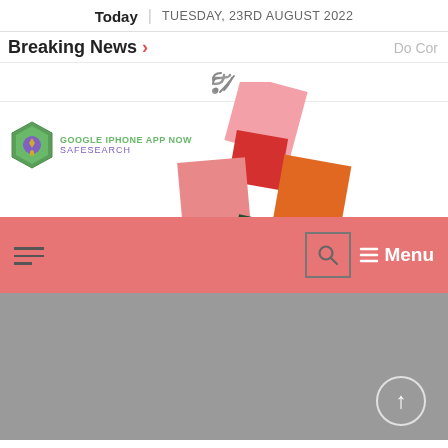Today | TUESDAY, 23RD AUGUST 2022
Breaking News > Do Cor
[Figure (other): RSS feed icon]
[Figure (logo): Google iPhone App Now SafeSearch logo with colored rotating squares overlay]
Menu (navigation bar with hamburger icon, search, and menu label)
[Figure (other): Gray content area with back-to-top circular button]